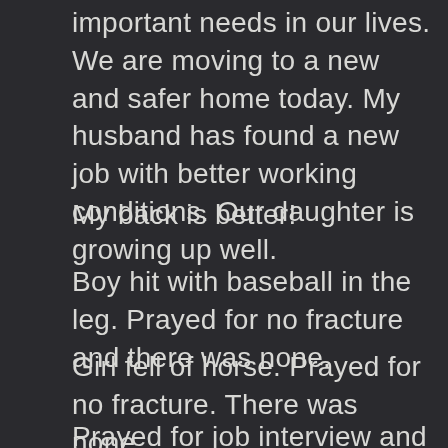important needs in our lives. We are moving to a new and safer home today. My husband has found a new job with better working conditions. Our daughter is growing up well.
My back is better!
Boy hit with baseball in the leg. Prayed for no fracture and there was none.
Girl fell of horse. Prayed for no fracture. There was none.
Prayed for job interview and that God